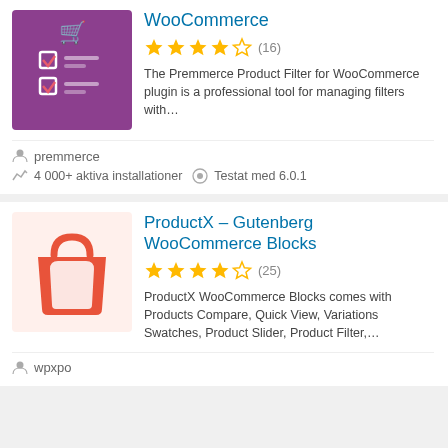[Figure (illustration): Purple background plugin icon with checklist/filter UI elements and shopping cart icon at top]
WooCommerce
★★★★☆ (16)
The Premmerce Product Filter for WooCommerce plugin is a professional tool for managing filters with…
premmerce
4 000+ aktiva installationer   Testat med 6.0.1
[Figure (illustration): Orange/red shopping bag icon on white background]
ProductX – Gutenberg WooCommerce Blocks
★★★★☆ (25)
ProductX WooCommerce Blocks comes with Products Compare, Quick View, Variations Swatches, Product Slider, Product Filter,…
wpxpo